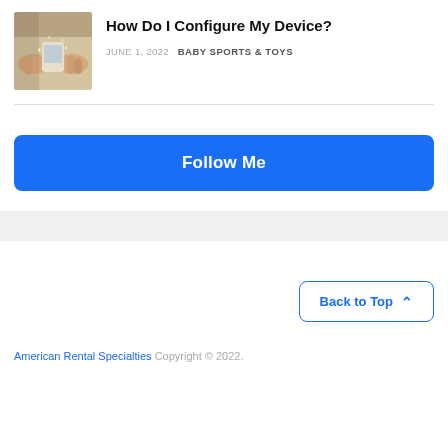[Figure (photo): Thumbnail photo of hands holding a small electronic device]
How Do I Configure My Device?
JUNE 1, 2022  BABY SPORTS & TOYS
Follow Me
Back to Top
American Rental Specialties Copyright © 2022.